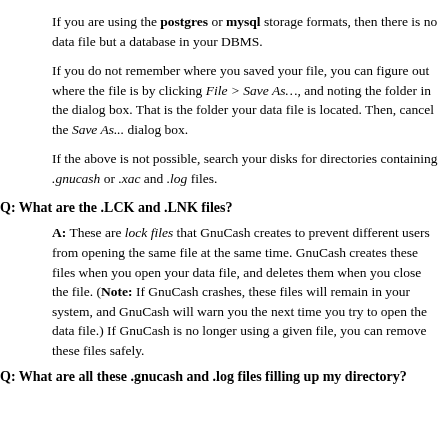If you are using the postgres or mysql storage formats, then there is no data file but a database in your DBMS.
If you do not remember where you saved your file, you can figure out where the file is by clicking File > Save As…, and noting the folder in the dialog box. That is the folder your data file is located. Then, cancel the Save As... dialog box.
If the above is not possible, search your disks for directories containing .gnucash or .xac and .log files.
Q: What are the .LCK and .LNK files?
A: These are lock files that GnuCash creates to prevent different users from opening the same file at the same time. GnuCash creates these files when you open your data file, and deletes them when you close the file. (Note: If GnuCash crashes, these files will remain in your system, and GnuCash will warn you the next time you try to open the data file.) If GnuCash is no longer using a given file, you can remove these files safely.
Q: What are all these .gnucash and .log files filling up my directory?